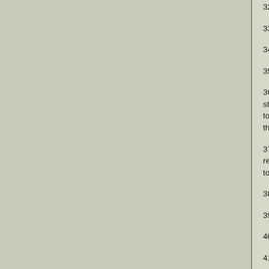32) The New York Times, 1 September, 18...
33) Marriott incorrectly states that this murde...
34) Marriott, 2007, page 340.
35) The Brooklyn Eagle 30 April, 1891.
36) The Norddeutscher Lloyd Line did run sh... steamship lines to New York, Baltimore, Bra... to the Samoan and Tonga Islands), and the... these lines had more than one ship running o...
37) Marriott states the murder occurred in Be... reports. The murder actually occurred in Beu... town of Bytom.
38) The London Times, 26 October, 1891.
39) Marriott, 2007, page 340.
40) Marriott, 2007, page 348.
41) Ibid.
42) 28 September, 1892, according to the Tr...
43) See The Vienna Ripper by "esm," Ripper...